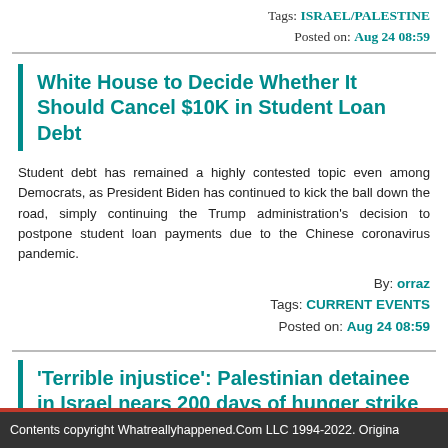Tags: ISRAEL/PALESTINE
Posted on: Aug 24 08:59
White House to Decide Whether It Should Cancel $10K in Student Loan Debt
Student debt has remained a highly contested topic even among Democrats, as President Biden has continued to kick the ball down the road, simply continuing the Trump administration's decision to postpone student loan payments due to the Chinese coronavirus pandemic.
By: orraz
Tags: CURRENT EVENTS
Posted on: Aug 24 08:59
'Terrible injustice': Palestinian detainee in Israel nears 200 days of hunger strike
Contents copyright Whatreallyhappened.Com LLC 1994-2022. Origina